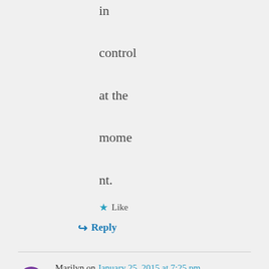in control at the moment.
★ Like
↳ Reply
Marilyn on January 25, 2015 at 7:25 pm
A poll of 1,000 people is not the frigging gospels, why do any media